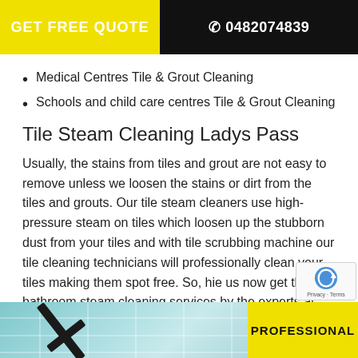GET FREE QUOTE   0482074839
Medical Centres Tile & Grout Cleaning
Schools and child care centres Tile & Grout Cleaning
Tile Steam Cleaning Ladys Pass
Usually, the stains from tiles and grout are not easy to remove unless we loosen the stains or dirt from the tiles and grouts. Our tile steam cleaners use high-pressure steam on tiles which loosen up the stubborn dust from your tiles and with tile scrubbing machine our tile cleaning technicians will professionally clean your tiles making them spot free. So, hie us now get the bathroom steam cleaning services by the experts at the lowest prices in Ladys Pass.
[Figure (photo): Bottom strip showing bathroom tiles with squeegee tool and yellow banner reading PROFESSIONAL]